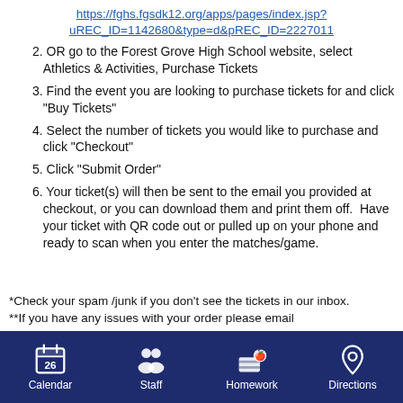https://fghs.fgsdk12.org/apps/pages/index.jsp?uREC_ID=1142680&type=d&pREC_ID=2227011
OR go to the Forest Grove High School website, select Athletics & Activities, Purchase Tickets
Find the event you are looking to purchase tickets for and click "Buy Tickets"
Select the number of tickets you would like to purchase and click "Checkout"
Click "Submit Order"
Your ticket(s) will then be sent to the email you provided at checkout, or you can download them and print them off.  Have your ticket with QR code out or pulled up on your phone and ready to scan when you enter the matches/game.
*Check your spam /junk if you don't see the tickets in our inbox.
**If you have any issues with your order please email
Calendar  Staff  Homework  Directions